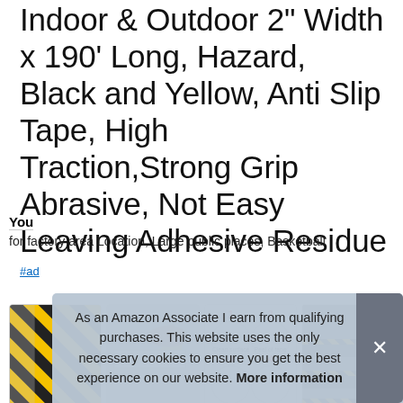Indoor & Outdoor 2" Width x 190' Long, Hazard, Black and Yellow, Anti Slip Tape, High Traction,Strong Grip Abrasive, Not Easy Leaving Adhesive Residue
#ad
[Figure (photo): Four product thumbnail images showing: 1) black and yellow diagonal striped anti-slip tape roll, 2) hand peeling backing off tape, 3) instruction diagram with numbered steps 1-4, 4) stairs with black and yellow anti-slip tape applied]
As an Amazon Associate I earn from qualifying purchases. This website uses the only necessary cookies to ensure you get the best experience on our website. More information
You
for factory area Location, Large public places, Basketball